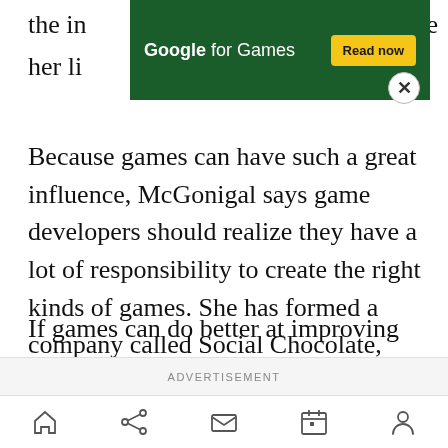the in[...]ve her li[...]
[Figure (other): Google for Games advertisement banner with dark green background, white text 'Google for Games', yellow 'Read now' button, and a close (X) button]
Because games can have such a great influence, McGonigal says game developers should realize they have a lot of responsibility to create the right kinds of games. She has formed a company called Social Chocolate, whose first game is SuperBetter, based on the concussion game. She is encouraging game designers to share ideas at Gameful.org.
If games can do better at improving our real lives, then it could lead to 21 billion hours a week of game playing, McGonigal said.
ADVERTISEMENT
[Figure (other): Mobile browser bottom navigation bar with home, share, mail, calendar, and profile icons]